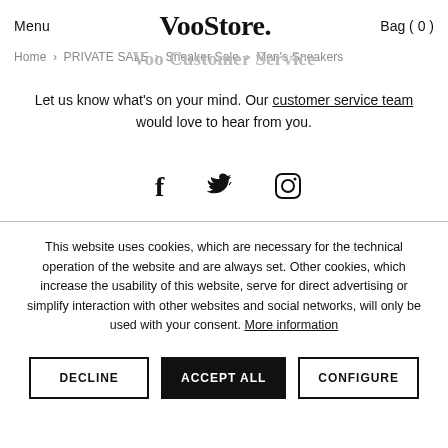Menu   VooStore.   Bag ( 0 )
Voo Customer Service
Home › PRIVATE SALE › Sneaker Sale › Men's Sneakers
Let us know what's on your mind. Our customer service team would love to hear from you.
[Figure (illustration): Social media icons: Facebook (f), Twitter bird, Instagram camera]
This website uses cookies, which are necessary for the technical operation of the website and are always set. Other cookies, which increase the usability of this website, serve for direct advertising or simplify interaction with other websites and social networks, will only be used with your consent. More information
DECLINE   ACCEPT ALL   CONFIGURE